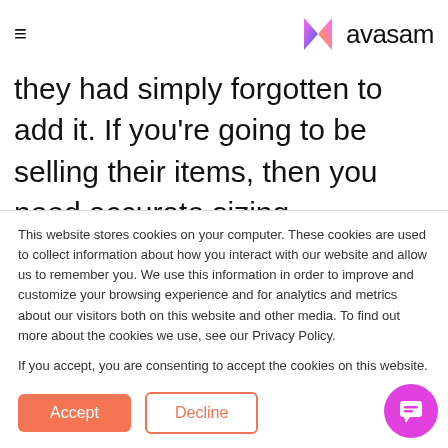≡  avasam
they had simply forgotten to add it. If you're going to be selling their items, then you need accurate sizing information – so get in touch with them, tell them that you're planning to DropShip their items. Ask them for a size conversion chart,
This website stores cookies on your computer. These cookies are used to collect information about how you interact with our website and allow us to remember you. We use this information in order to improve and customize your browsing experience and for analytics and metrics about our visitors both on this website and other media. To find out more about the cookies we use, see our Privacy Policy.
If you accept, you are consenting to accept the cookies on this website.
Accept  Decline